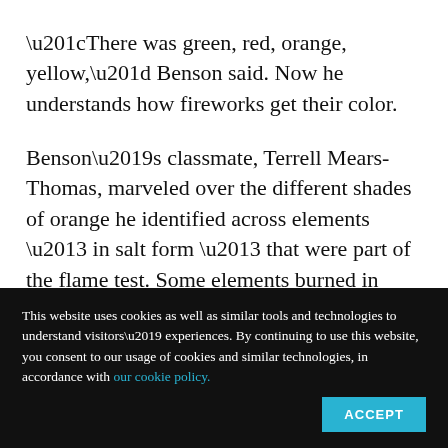“There was green, red, orange, yellow,” Benson said. Now he understands how fireworks get their color.
Benson’s classmate, Terrell Mears-Thomas, marveled over the different shades of orange he identified across elements – in salt form – that were part of the flame test. Some elements burned in similar colors, he said, but not
This website uses cookies as well as similar tools and technologies to understand visitors’ experiences. By continuing to use this website, you consent to our usage of cookies and similar technologies, in accordance with our cookie policy.